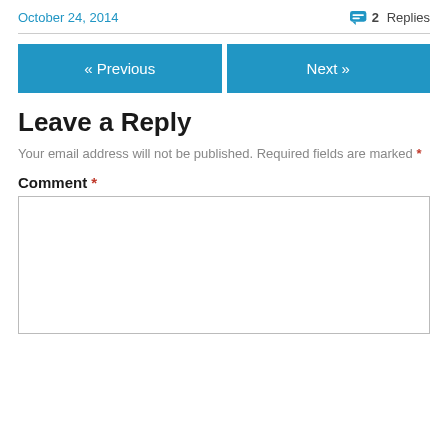October 24, 2014   2 Replies
« Previous   Next »
Leave a Reply
Your email address will not be published. Required fields are marked *
Comment *